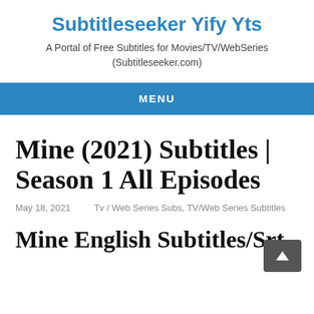Subtitleseeker Yify Yts
A Portal of Free Subtitles for Movies/TV/WebSeries (Subtitleseeker.com)
MENU
Mine (2021) Subtitles | Season 1 All Episodes
May 18, 2021    Tv / Web Series Subs, TV/Web Series Subtitles
Mine English Subtitles/Srt